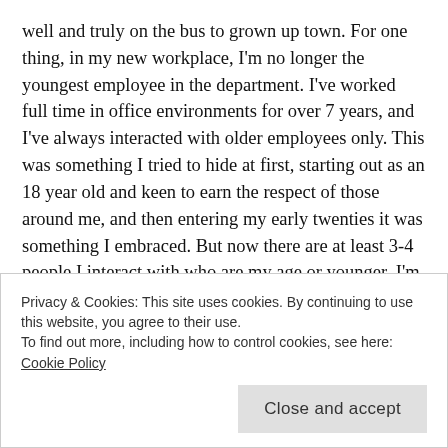well and truly on the bus to grown up town. For one thing, in my new workplace, I'm no longer the youngest employee in the department. I've worked full time in office environments for over 7 years, and I've always interacted with older employees only. This was something I tried to hide at first, starting out as an 18 year old and keen to earn the respect of those around me, and then entering my early twenties it was something I embraced. But now there are at least 3-4 people I interact with who are my age or younger, I'm finally amidst my generation in the workforce and it's making me realise that we're all well and truly 'adulting'. Another example of this is meeting with a financial planner who was my age. Call me an age-ist but we were both sitting in this meeting room having a
Privacy & Cookies: This site uses cookies. By continuing to use this website, you agree to their use.
To find out more, including how to control cookies, see here: Cookie Policy
Close and accept